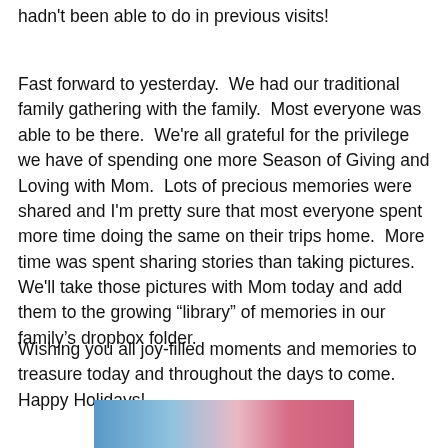hadn't been able to do in previous visits!
Fast forward to yesterday.  We had our traditional family gathering with the family.  Most everyone was able to be there.  We're all grateful for the privilege we have of spending one more Season of Giving and Loving with Mom.  Lots of precious memories were shared and I'm pretty sure that most everyone spent more time doing the same on their trips home.  More time was spent sharing stories than taking pictures.  We'll take those pictures with Mom today and add them to the growing “library” of memories in our family's dropbox folder.
Wishing you all joy-filled moments and memories to treasure today and throughout the days to come.  Happy Holidays!
[Figure (photo): Partial photo strip visible at the bottom of the page, showing a colorful image (blue and pink tones).]